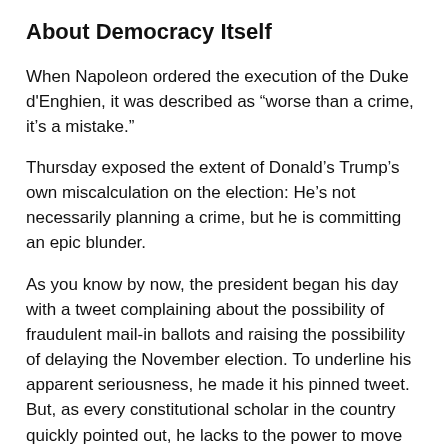About Democracy Itself
When Napoleon ordered the execution of the Duke d'Enghien, it was described as “worse than a crime, it’s a mistake.”
Thursday exposed the extent of Donald’s Trump’s own miscalculation on the election: He’s not necessarily planning a crime, but he is committing an epic blunder.
As you know by now, the president began his day with a tweet complaining about the possibility of fraudulent mail-in ballots and raising the possibility of delaying the November election. To underline his apparent seriousness, he made it his pinned tweet. But, as every constitutional scholar in the country quickly pointed out, he lacks to the power to move the election and there’s absolutely no support in Congress for such a move, so that leaves three alternative explanations.
(1) He wanted a distraction from truly ghastly economic numbers that had just been released.